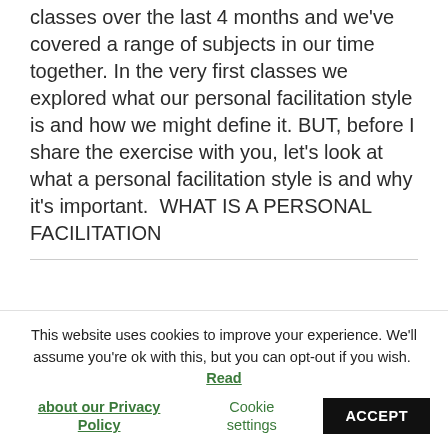classes over the last 4 months and we've covered a range of subjects in our time together. In the very first classes we explored what our personal facilitation style is and how we might define it. BUT, before I share the exercise with you, let's look at what a personal facilitation style is and why it's important.  WHAT IS A PERSONAL FACILITATION
This website uses cookies to improve your experience. We'll assume you're ok with this, but you can opt-out if you wish. Read about our Privacy Policy
Cookie settings
ACCEPT